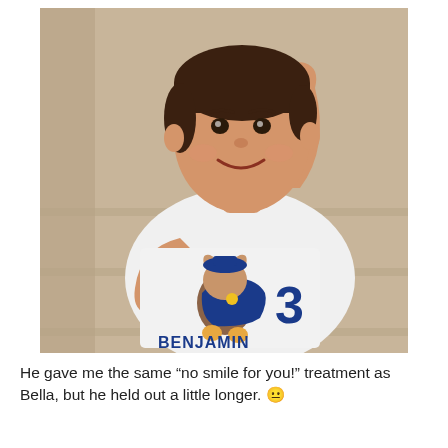[Figure (photo): A young boy smiling with his right arm raised, wearing a white t-shirt with a PAW Patrol character (Chase) and the number 3 on it, with the name BENJAMIN printed below. The background appears to be concrete steps.]
He gave me the same “no smile for you!” treatment as Bella, but he held out a little longer. 😐